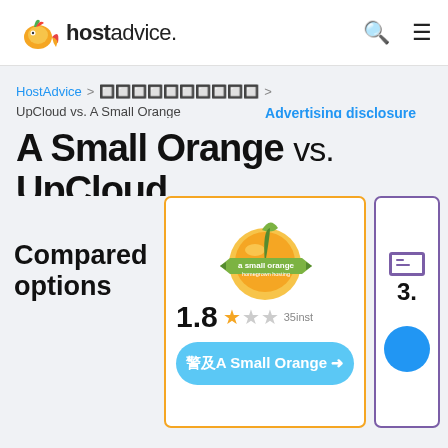hostadvice. [search] [menu]
HostAdvice > 🔲🔲🔲🔲🔲🔲🔲🔲🔲🔲 > UpCloud vs. A Small Orange
Advertising disclosure
A Small Orange vs. UpCloud
Compared options
[Figure (logo): A Small Orange logo - orange fruit with green leaf and green banner reading 'a small orange homegrown hosting']
1.8  ★★☆☆☆  35inst
訪問A Small Orange →
3.